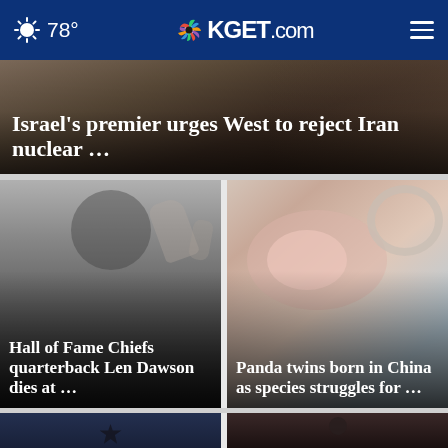78° KGET.com
[Figure (photo): Hero image with dark background, headline overlay: Israel's premier urges West to reject Iran nuclear ...]
Israel’s premier urges West to reject Iran nuclear …
[Figure (photo): Black and white photo of Hall of Fame Chiefs quarterback Len Dawson raising hand]
Hall of Fame Chiefs quarterback Len Dawson dies at …
[Figure (photo): Close-up photo of newborn panda twins in China]
Panda twins born in China as species struggles for …
[Figure (photo): Bottom-left partial news card image]
[Figure (photo): Bottom-right partial news card image]